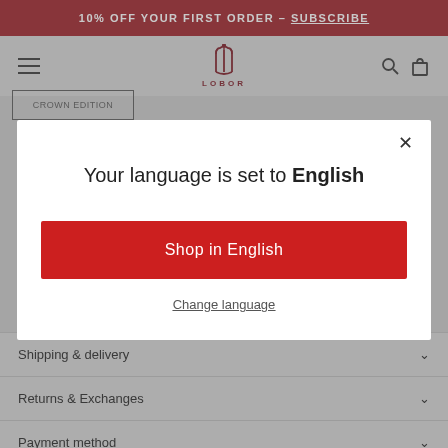10% OFF YOUR FIRST ORDER – SUBSCRIBE
[Figure (logo): LOBOR brand logo with trident/crown symbol in dark red]
Shop in English
Your language is set to English
Shop in English
Change language
Shipping & delivery
Returns & Exchanges
Payment method